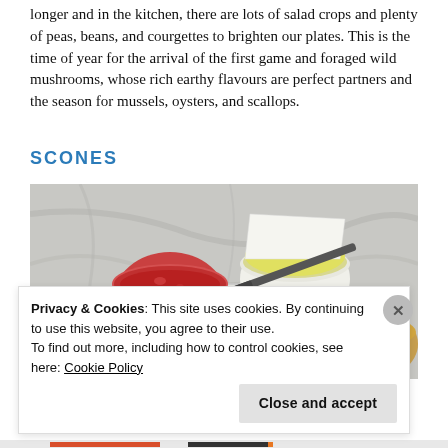longer and in the kitchen, there are lots of salad crops and plenty of peas, beans, and courgettes to brighten our plates. This is the time of year for the arrival of the first game and foraged wild mushrooms, whose rich earthy flavours are perfect partners and the season for mussels, oysters, and scallops.
SCONES
[Figure (photo): Photo of scones served on a plate with a small bowl of red jam/strawberry preserve and a small white ramekin of clotted cream, with a butter knife, on a marble surface.]
Privacy & Cookies: This site uses cookies. By continuing to use this website, you agree to their use.
To find out more, including how to control cookies, see here: Cookie Policy